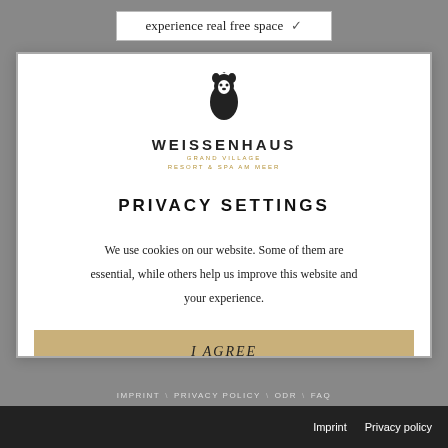experience real free space ✓
[Figure (logo): Weissenhaus Grand Village Resort & Spa am Meer logo with stylized bear icon]
PRIVACY SETTINGS
We use cookies on our website. Some of them are essential, while others help us improve this website and your experience.
I AGREE
INDIVIDUAL COOKIE SETTINGS
IMPRINT \ PRIVACY POLICY \ ODR \ FAQ
Imprint   Privacy policy